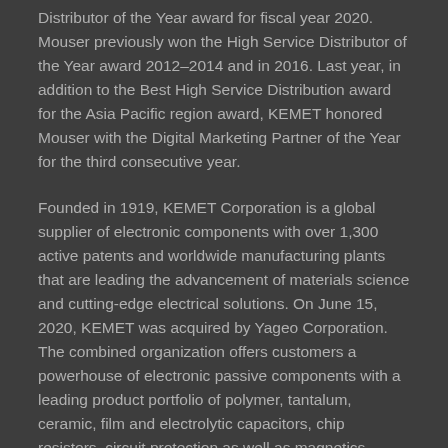Distributor of the Year award for fiscal year 2020. Mouser previously won the High Service Distributor of the Year award 2012–2014 and in 2016. Last year, in addition to the Best High Service Distribution award for the Asia Pacific region award, KEMET honored Mouser with the Digital Marketing Partner of the Year for the third consecutive year.
Founded in 1919, KEMET Corporation is a global supplier of electronic components with over 1,300 active patents and worldwide manufacturing plants that are leading the advancement of materials science and cutting-edge electrical solutions. On June 15, 2020, KEMET was acquired by Yageo Corporation. The combined organization offers customers a powerhouse of electronic passive components with a leading product portfolio of polymer, tantalum, ceramic, film and electrolytic capacitors, chip resistors, circuit protection as well as magnetics, sensors, actuators and inductors all addressing a full range of end markets. KEMET provides solutions demanding the highest standards of quality, delivery and service.